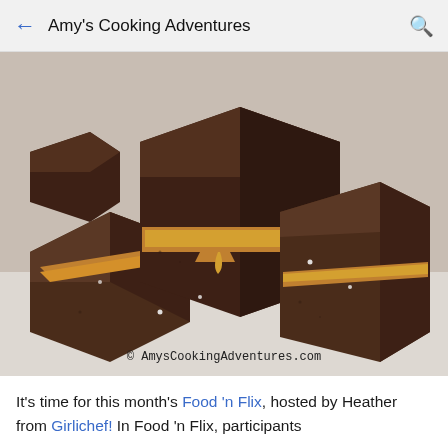← Amy's Cooking Adventures 🔍
[Figure (photo): Stacked pieces of chocolate fudge with caramel swirls and sea salt on a white surface, with watermark '© AmysCookingAdventures.com' at the bottom.]
© AmysCookingAdventures.com
It's time for this month's Food 'n Flix, hosted by Heather from Girlichef!  In Food 'n Flix, participants